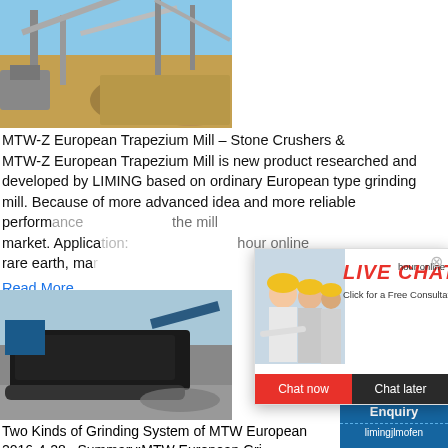[Figure (photo): Mining site with heavy machinery, conveyors, and rock piles under blue sky]
MTW-Z European Trapezium Mill – Stone Crushers &
MTW-Z European Trapezium Mill is new product researched and developed by LIMING based on ordinary European type grinding mill. Because of more advanced idea and more reliable performance ... the mill market. Application: rare earth, ma...
Read More
[Figure (photo): Live chat popup with workers in hard hats, LIVE CHAT heading in red, Chat now (red) and Chat later (black) buttons]
[Figure (photo): Right sidebar showing industrial crusher machine image, Click me to chat>> button, Enquiry section, limingjlmofen text]
[Figure (photo): Bottom photo of mobile crushing/grinding machine in field]
Two Kinds of Grinding System of MTW European
2016-4-28 · Summary:MTW European Gri...
limingjlmofen